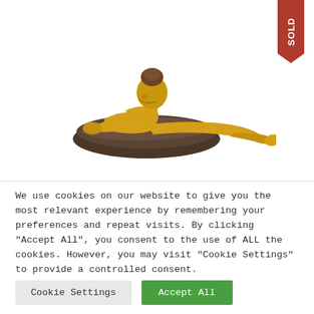[Figure (photo): Gold-colored reclining female figurine/sculpture resting on a dark cushion/pillow base, with hair pinned up, posed on a white background. A red 'SOLD' banner is displayed in the top-right corner.]
We use cookies on our website to give you the most relevant experience by remembering your preferences and repeat visits. By clicking “Accept All”, you consent to the use of ALL the cookies. However, you may visit "Cookie Settings" to provide a controlled consent.
Cookie Settings
Accept All